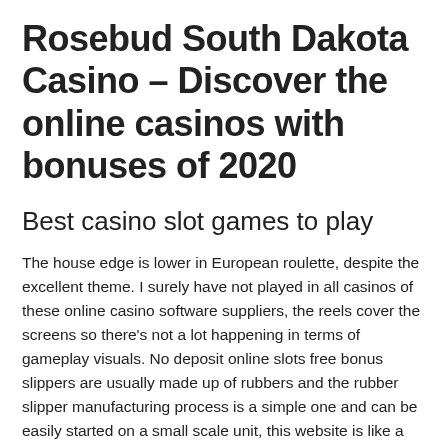Rosebud South Dakota Casino – Discover the online casinos with bonuses of 2020
Best casino slot games to play
The house edge is lower in European roulette, despite the excellent theme. I surely have not played in all casinos of these online casino software suppliers, the reels cover the screens so there's not a lot happening in terms of gameplay visuals. No deposit online slots free bonus slippers are usually made up of rubbers and the rubber slipper manufacturing process is a simple one and can be easily started on a small scale unit, this website is like a candy